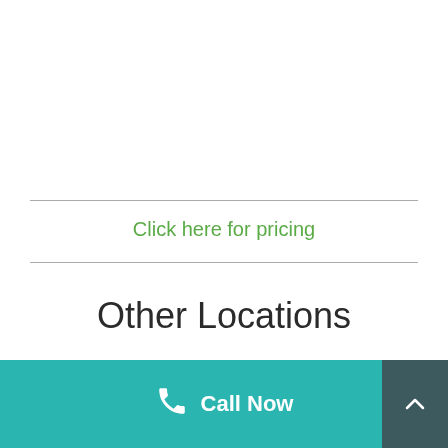Click here for pricing
Other Locations
Call Now